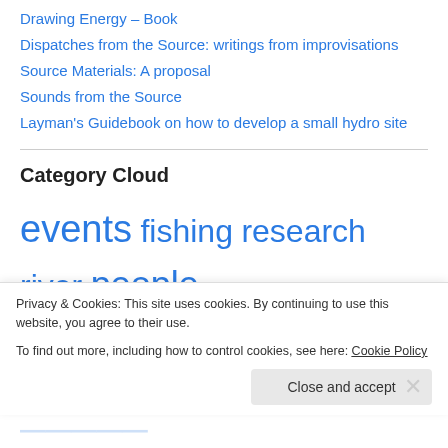Drawing Energy – Book
Dispatches from the Source: writings from improvisations
Source Materials: A proposal
Sounds from the Source
Layman's Guidebook on how to develop a small hydro site
Category Cloud
events fishing research river people riverside listening Riverside Meetings traditional music
Privacy & Cookies: This site uses cookies. By continuing to use this website, you agree to their use. To find out more, including how to control cookies, see here: Cookie Policy
Close and accept